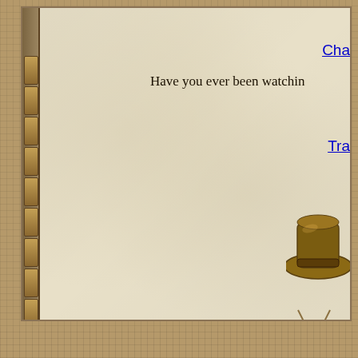Cha
Have you ever been watchin
Tra
[Figure (illustration): A cartoon cowboy hat on top of a TV/monitor icon, partially visible at the right edge of the page]
arou